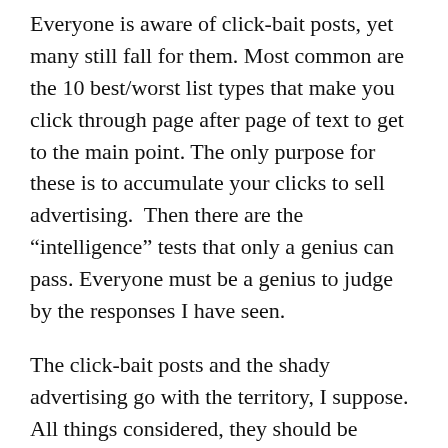Everyone is aware of click-bait posts, yet many still fall for them. Most common are the 10 best/worst list types that make you click through page after page of text to get to the main point. The only purpose for these is to accumulate your clicks to sell advertising. Then there are the “intelligence” tests that only a genius can pass. Everyone must be a genius to judge by the responses I have seen.
The click-bait posts and the shady advertising go with the territory, I suppose. All things considered, they should be expected. What it tells us is not that people may have less than honorable motives, whatever the legality, but that Facebook is not too squeamish about what is accepted for posting. This is odd, given the